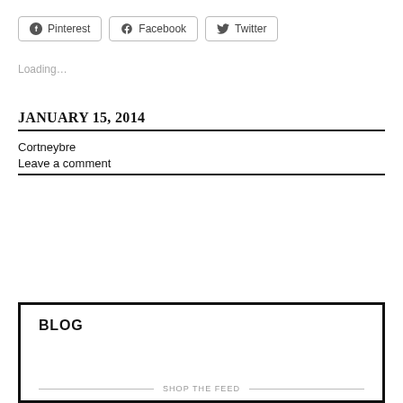Pinterest  Facebook  Twitter (share buttons)
Loading...
JANUARY 15, 2014
Cortneybre
Leave a comment
BLOG
SHOP THE FEED